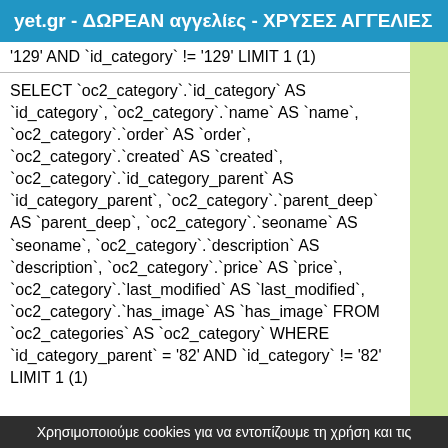yet.gr - ΔΩΡΕΑΝ αγγελίες - ΧΡΥΣΕΣ ΑΓΓΕΛΙΕΣ
'129' AND `id_category` != '129' LIMIT 1 (1)
SELECT `oc2_category`.`id_category` AS `id_category`, `oc2_category`.`name` AS `name`, `oc2_category`.`order` AS `order`, `oc2_category`.`created` AS `created`, `oc2_category`.`id_category_parent` AS `id_category_parent`, `oc2_category`.`parent_deep` AS `parent_deep`, `oc2_category`.`seoname` AS `seoname`, `oc2_category`.`description` AS `description`, `oc2_category`.`price` AS `price`, `oc2_category`.`last_modified` AS `last_modified`, `oc2_category`.`has_image` AS `has_image` FROM `oc2_categories` AS `oc2_category` WHERE `id_category_parent` = '82' AND `id_category` != '82' LIMIT 1 (1)
Χρησιμοποιούμε cookies για να εντοπίζουμε τη χρήση και τις